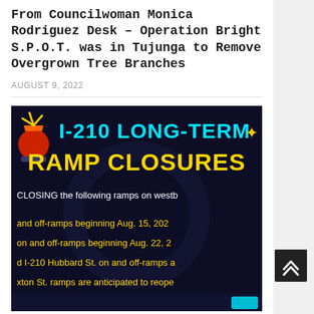From Councilwoman Monica Rodriguez Desk – Operation Bright S.P.O.T. was in Tujunga to Remove Overgrown Tree Branches
AUGUST 9, 2022
[Figure (infographic): Dark background infographic about I-210 Long-Term Ramp Closures. Cyan header text reads 'I-210 LONG-TERM' and yellow bold text reads 'RAMP CLOSURES'. Body text describes closing ramps on westbound, with dates Aug. 15, 2022, Aug. 22, and Hubbard St. on and off-ramps, and Paxton St. ramps are anticipated to reopen.]
COMMUNITY
From Councilwoman Monica Rodriguez Desk – Road Closure